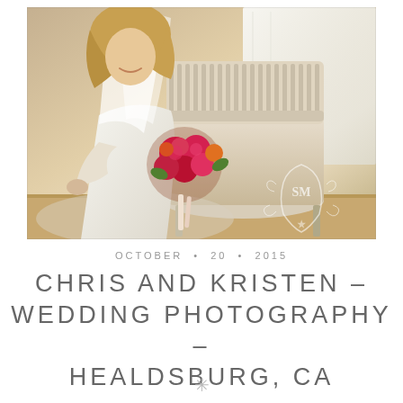[Figure (photo): A bride in a white wedding dress and veil sitting on a striped white chair, holding a large bouquet of deep red/pink flowers with ribbons. Photographed indoors near a bright window. An SM Photography watermark logo is visible in the lower right of the image.]
OCTOBER • 20 • 2015
CHRIS AND KRISTEN – WEDDING PHOTOGRAPHY – HEALDSBURG, CA
✳